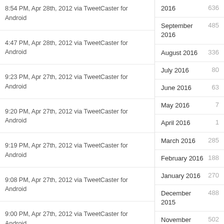8:54 PM, Apr 28th, 2012 via TweetCaster for Android
4:47 PM, Apr 28th, 2012 via TweetCaster for Android
9:23 PM, Apr 27th, 2012 via TweetCaster for Android
9:20 PM, Apr 27th, 2012 via TweetCaster for Android
9:19 PM, Apr 27th, 2012 via TweetCaster for Android
9:08 PM, Apr 27th, 2012 via TweetCaster for Android
9:00 PM, Apr 27th, 2012 via TweetCaster for Android
2016  636
September 2016  485
August 2016  336
July 2016  80
June 2016  63
May 2016  7
April 2016  1
March 2016  285
February 2016  188
January 2016  270
December 2015  488
November 2015  502
October 2015  732